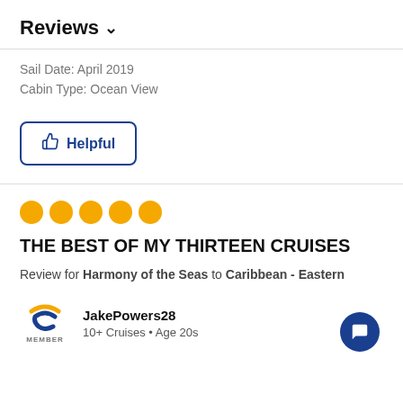Reviews ∨
Sail Date: April 2019
Cabin Type: Ocean View
[Figure (other): Helpful button with thumbs up icon, blue border, rounded rectangle]
[Figure (other): Five orange filled circles representing a 5-star rating]
THE BEST OF MY THIRTEEN CRUISES
Review for Harmony of the Seas to Caribbean - Eastern
[Figure (logo): Cruise Critic member badge logo with orange arc and dark blue wave C shape, MEMBER label below]
JakePowers28
10+ Cruises • Age 20s
[Figure (other): Dark blue circular chat/message button with white speech bubble icon]